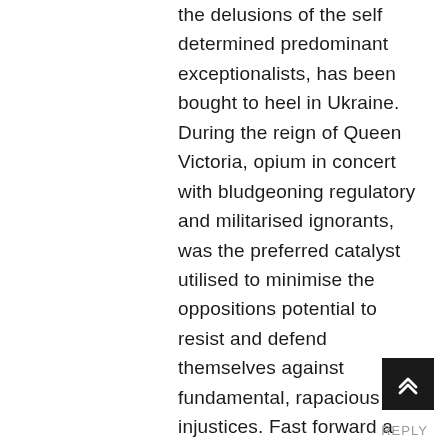the delusions of the self determined predominant exceptionalists, has been bought to heel in Ukraine. During the reign of Queen Victoria, opium in concert with bludgeoning regulatory and militarised ignorants, was the preferred catalyst utilised to minimise the oppositions potential to resist and defend themselves against fundamental, rapacious injustices. Fast forward a century and a half and we are still confronted by similar protagonists, suffering from the same delusional expansionist imperialist ideals, but manipulation, deceit, and misinformation are now their chosen opiates of choice.
REPLY